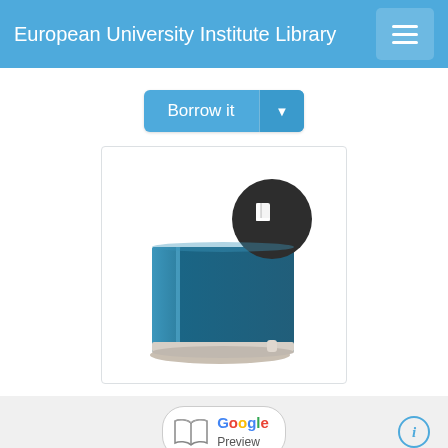European University Institute Library
[Figure (screenshot): Borrow it button with dropdown caret, blue background]
[Figure (illustration): Stylized teal/blue book icon with dark circular badge showing a book symbol overlay]
[Figure (screenshot): Google Preview button with open book icon, on a light grey bar with an info icon on the right]
Chinese arbitration : a selection of pitfalls, Association for International Arbitration (ed.)